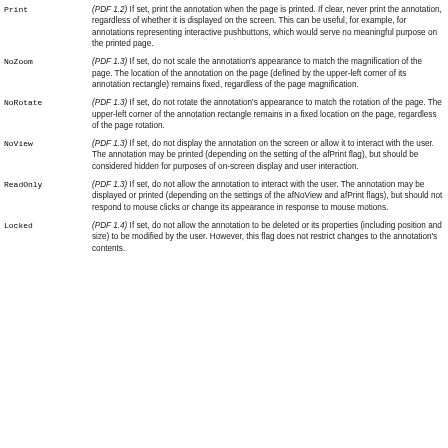Print — (PDF 1.2) If set, print the annotation when the page is printed. If clear, never print the annotation, regardless of whether it is displayed on the screen. This can be useful, for example, for annotations representing interactive pushbuttons, which would serve no meaningful purpose on the printed page.
NoZoom — (PDF 1.3) If set, do not scale the annotation's appearance to match the magnification of the page. The location of the annotation on the page (defined by the upper-left corner of its annotation rectangle) remains fixed, regardless of the page magnification.
NoRotate — (PDF 1.3) If set, do not rotate the annotation's appearance to match the rotation of the page. The upper-left corner of the annotation rectangle remains in a fixed location on the page, regardless of the page rotation.
NoView — (PDF 1.3) If set, do not display the annotation on the screen or allow it to interact with the user. The annotation may be printed (depending on the setting of the afPrint flag), but should be considered hidden for purposes of on-screen display and user interaction.
ReadOnly — (PDF 1.3) If set, do not allow the annotation to interact with the user. The annotation may be displayed or printed (depending on the settings of the afNoView and afPrint flags), but should not respond to mouse clicks or change its appearance in response to mouse motions.
Locked — (PDF 1.4) If set, do not allow the annotation to be deleted or its properties (including position and size) to be modified by the user. However, this flag does not restrict changes to the annotation's contents.